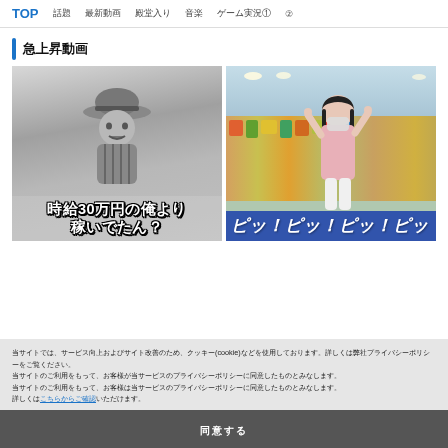TOP　話題　最新動画　殿堂入り　音楽　ゲーム実況① ②
急上昇動画
[Figure (photo): Black and white photo of a young child wearing a straw hat and traditional clothing, with white bold Japanese text overlay reading 時給30万円の俺より稼いでたん？]
[Figure (photo): Color photo of a young woman in a store/shop setting raising fingers, with blue bold text overlay reading ピッ！ピッ！ピッ！ピッ]
当サイトでは、サービス向上およびサイト改善のため、クッキー(cookie)などを使用しております。詳しくは弊社プライバシーポリシーをご覧ください。当サイトのご利用をもって、お客様が当サービスのプライバシーポリシーに同意したものとみなします。
詳しくはこちらからご確認いただけます。